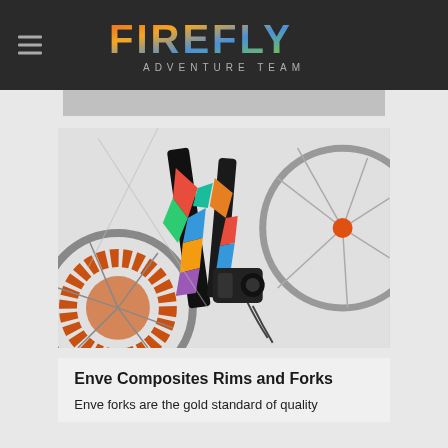FIREFLY ADVENTURE TEAM
[Figure (photo): Close-up photo of a bicycle front fork and wheel hub with colorful geometric pattern decals, orange disc brake rotor, black carbon fork with disc brake caliper, and silver spokes on a white background]
Enve Composites Rims and Forks
Enve forks are the gold standard of quality